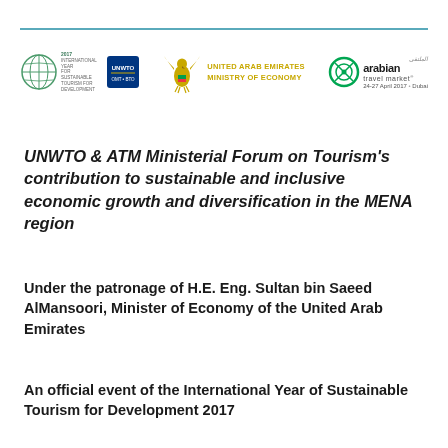[Figure (logo): Three logos: UNWTO International Year for Sustainable Development logo (left), United Arab Emirates Ministry of Economy eagle emblem with text (center), Arabian Travel Market 24-27 April 2017 Dubai logo (right)]
UNWTO & ATM Ministerial Forum on Tourism's contribution to sustainable and inclusive economic growth and diversification in the MENA region
Under the patronage of H.E. Eng. Sultan bin Saeed AlMansoori, Minister of Economy of the United Arab Emirates
An official event of the International Year of Sustainable Tourism for Development 2017